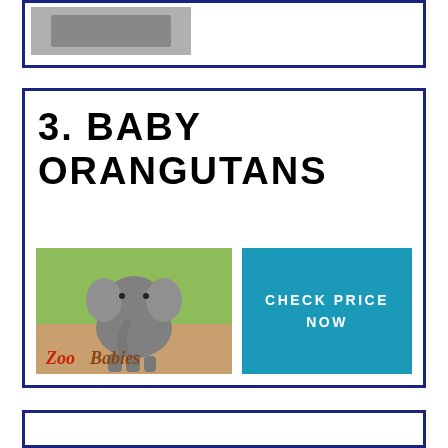[Figure (other): Top card with partial product image partially visible at top of page, dark navy border]
3. BABY ORANGUTANS
[Figure (photo): Book cover image showing a baby elephant with ears spread wide standing on dirt ground, with text 'Zoo Babies' overlaid in red italic font on a green background]
CHECK PRICE NOW
[Figure (other): Bottom card partially visible with navy border]